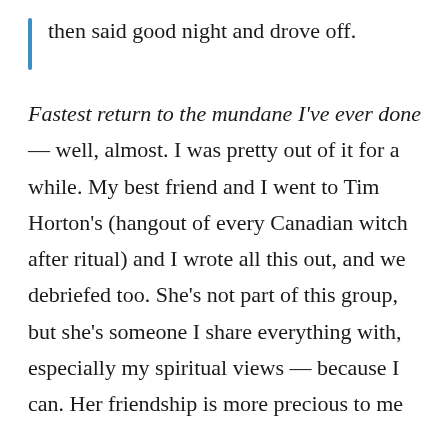then said good night and drove off.
Fastest return to the mundane I've ever done — well, almost. I was pretty out of it for a while. My best friend and I went to Tim Horton's (hangout of every Canadian witch after ritual) and I wrote all this out, and we debriefed too. She's not part of this group, but she's someone I share everything with, especially my spiritual views — because I can. Her friendship is more precious to me than...